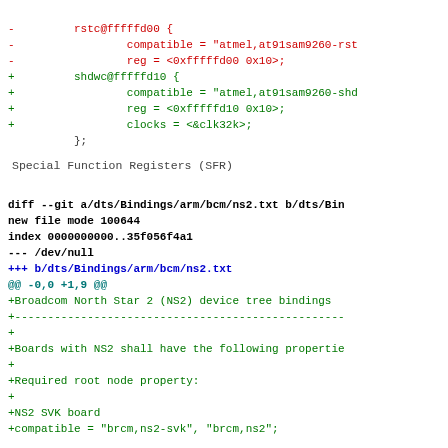- rstc@fffffd00 {
-     compatible = "atmel,at91sam9260-rst
-     reg = <0xfffffd00 0x10>;
+     shdwc@fffffd10 {
+     compatible = "atmel,at91sam9260-shd
+     reg = <0xfffffd10 0x10>;
+     clocks = <&clk32k>;
      };
Special Function Registers (SFR)
diff --git a/dts/Bindings/arm/bcm/ns2.txt b/dts/Bin
new file mode 100644
index 0000000000..35f056f4a1
--- /dev/null
+++ b/dts/Bindings/arm/bcm/ns2.txt
@@ -0,0 +1,9 @@
+Broadcom North Star 2 (NS2) device tree bindings
+--------------------------------------------------
+
+Boards with NS2 shall have the following propertie
+
+Required root node property:
+
+NS2 SVK board
+compatible = "brcm,ns2-svk", "brcm,ns2";
diff --git a/dts/Bindings/arm/bcm/raspberrypi,bcm28
new file mode 100644